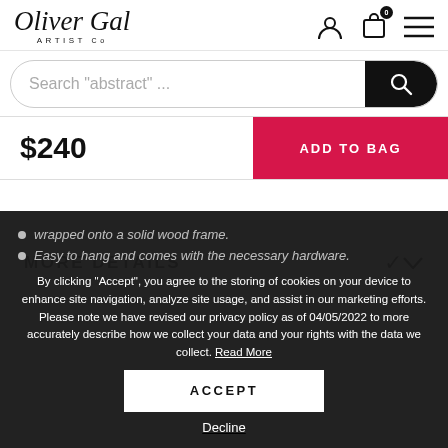Oliver Gal ARTIST Co
Search "abstract" ...
$240
ADD TO BAG
MORE DETAILS
By clicking "Accept", you agree to the storing of cookies on your device to enhance site navigation, analyze site usage, and assist in our marketing efforts. Please note we have revised our privacy policy as of 04/05/2022 to more accurately describe how we collect your data and your rights with the data we collect. Read More
ACCEPT
Decline
wrapped onto a solid wood frame.
Easy to hang and comes with the necessary hardware.